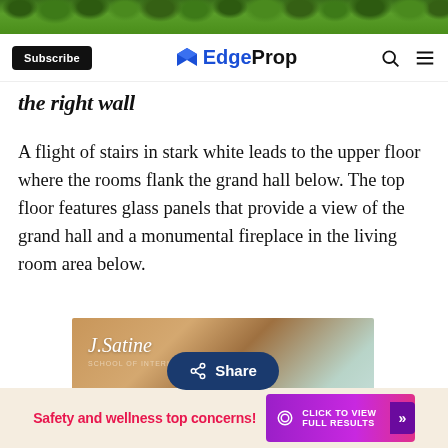[Figure (photo): Green hedge/foliage banner at top of page]
Subscribe | EdgeProp | [search] [menu]
the right wall
A flight of stairs in stark white leads to the upper floor where the rooms flank the grand hall below. The top floor features glass panels that provide a view of the grand hall and a monumental fireplace in the living room area below.
[Figure (photo): J.Satine advertisement with Share button overlay and CLOSE button]
[Figure (other): Safety and wellness top concerns! advertisement banner with CLICK TO VIEW FULL RESULTS button]